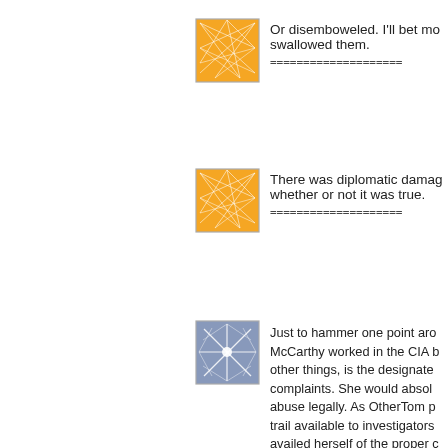[Figure (illustration): Orange avatar icon with geometric web/network pattern lines on square background]
Or disemboweled. I'll bet mo... swallowed them.
====================
[Figure (illustration): Orange avatar icon with geometric web/network pattern lines on square background]
There was diplomatic damag... whether or not it was true.
====================
[Figure (illustration): Blue/grey avatar icon with geometric snowflake/star pattern on square background]
Just to hammer one point aro... McCarthy worked in the CIA b... other things, is the designate... complaints. She would absol... abuse legally. As OtherTom p... trail available to investigators... availed herself of the proper c... she did, but my suspicion is t... remove any claim to whistleb...